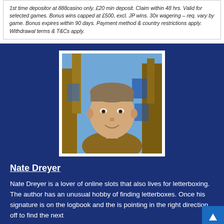1st time depositor at 888casino only. £20 min deposit. Claim within 48 hrs. Valid for selected games. Bonus wins capped at £500, excl. JP wins. 30x wagering – req. vary by game. Bonus expires within 90 days. Payment method & country restrictions apply. Withdrawal terms & T&Cs apply.
[Figure (photo): Headshot of a young man (Nate Dreyer) smiling, outdoors with trees and blue decorations in the background, wearing a brown jacket.]
Nate Dreyer
Nate Dreyer is a lover of online slots that also lives for letterboxing. The author has an unusual hobby of finding letterboxes. Once his signature is on the logbook and the is pointing in the right direction off to find the next...